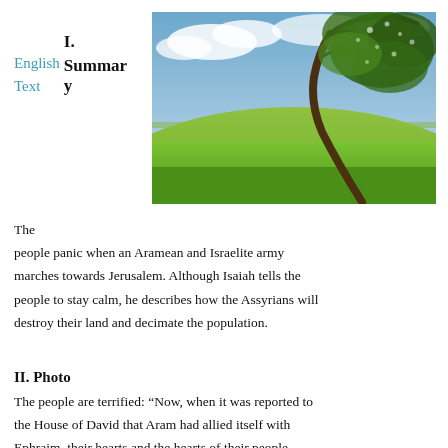English
Text
I. Summary
[Figure (photo): A tree bent dramatically sideways by strong wind, standing in a green grassy field under a partly cloudy sky.]
The people panic when an Aramean and Israelite army marches towards Jerusalem. Although Isaiah tells the people to stay calm, he describes how the Assyrians will destroy their land and decimate the population.
II. Photo
The people are terrified: “Now, when it was reported to the House of David that Aram had allied itself with Ephraim, their hearts and the hearts of their people